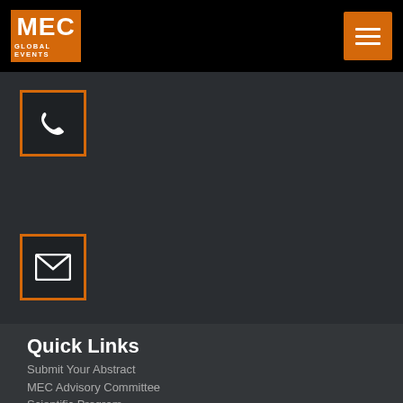MEC GLOBAL EVENTS
[Figure (illustration): Phone icon in orange-bordered dark square]
[Figure (illustration): Email/envelope icon in orange-bordered dark square]
Quick Links
Submit Your Abstract
MEC Advisory Committee
Scientific Program